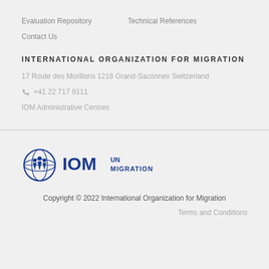Evaluation Repository
Technical References
Contact Us
INTERNATIONAL ORGANIZATION FOR MIGRATION
17 Route des Morillons 1218 Grand-Saconnex Switzerland
+41 22 717 9111
IOM Administrative Centres
[Figure (logo): IOM UN Migration logo — globe icon with people silhouette followed by IOM in large letters and UN Migration text]
Copyright © 2022 International Organization for Migration
Terms and Conditions